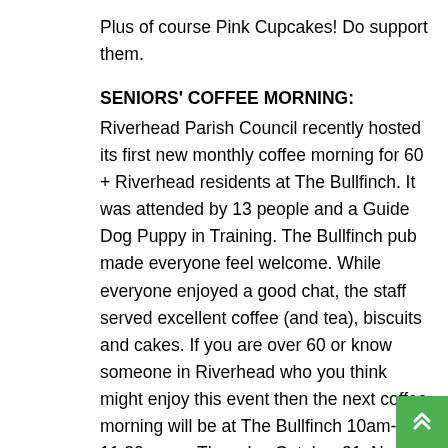Plus of course Pink Cupcakes! Do support them.
SENIORS' COFFEE MORNING:
Riverhead Parish Council recently hosted its first new monthly coffee morning for 60 + Riverhead residents at The Bullfinch. It was attended by 13 people and a Guide Dog Puppy in Training. The Bullfinch pub made everyone feel welcome. While everyone enjoyed a good chat, the staff served excellent coffee (and tea), biscuits and cakes. If you are over 60 or know someone in Riverhead who you think might enjoy this event then the next coffee morning will be at The Bullfinch 10am-11.30pm on Thursday October 31. Next month it will be on